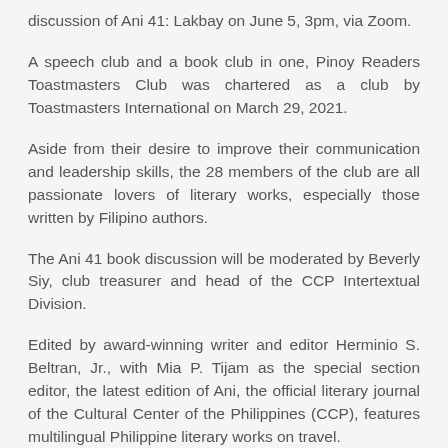discussion of Ani 41: Lakbay on June 5, 3pm, via Zoom.
A speech club and a book club in one, Pinoy Readers Toastmasters Club was chartered as a club by Toastmasters International on March 29, 2021.
Aside from their desire to improve their communication and leadership skills, the 28 members of the club are all passionate lovers of literary works, especially those written by Filipino authors.
The Ani 41 book discussion will be moderated by Beverly Siy, club treasurer and head of the CCP Intertextual Division.
Edited by award-winning writer and editor Herminio S. Beltran, Jr., with Mia P. Tijam as the special section editor, the latest edition of Ani, the official literary journal of the Cultural Center of the Philippines (CCP), features multilingual Philippine literary works on travel.
It contains 146 literary works in various literary genres,